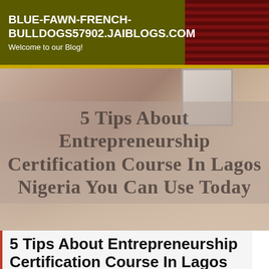BLUE-FAWN-FRENCH-BULLDOGS57902.JAIBLOGS.COM
Welcome to our Blog!
[Figure (photo): Person typing on Apple keyboard with iMac in background, desk/workspace photo used as hero image]
5 Tips About Entrepreneurship Certification Course In Lagos Nigeria You Can Use Today
5 Tips About Entrepreneurship Certification Course In Lagos